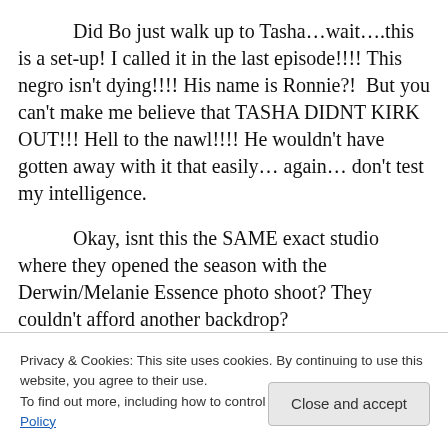Did Bo just walk up to Tasha…wait….this is a set-up! I called it in the last episode!!!! This negro isn't dying!!!! His name is Ronnie?!  But you can't make me believe that TASHA DIDNT KIRK OUT!!! Hell to the nawl!!!! He wouldn't have gotten away with it that easily… again… don't test my intelligence.
Okay, isnt this the SAME exact studio where they opened the season with the Derwin/Melanie Essence photo shoot? They couldn't afford another backdrop?
WOWZERS!!! Okay.. Hosea... my address is 2504 I Saw
Privacy & Cookies: This site uses cookies. By continuing to use this website, you agree to their use. To find out more, including how to control cookies, see here: Cookie Policy